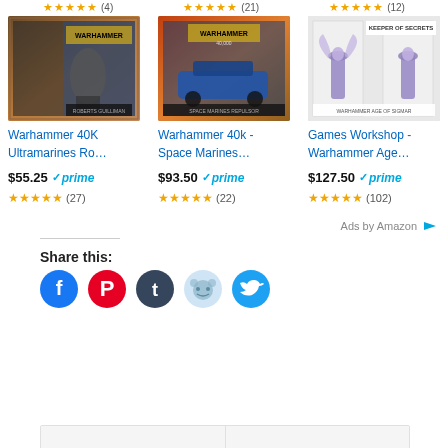[Figure (screenshot): Top partial star ratings row showing three products with orange star ratings and counts]
[Figure (photo): Warhammer 40K Ultramarines product box image]
Warhammer 40K Ultramarines Ro…
$55.25 prime
(27)
[Figure (photo): Warhammer 40k Space Marines product box image]
Warhammer 40k - Space Marines…
$93.50 prime
(22)
[Figure (photo): Games Workshop Warhammer Age Keeper of Secrets product box image]
Games Workshop - Warhammer Age…
$127.50 prime
(102)
Ads by Amazon
Share this:
[Figure (infographic): Social share buttons: Facebook (blue), Pinterest (red), Tumblr (dark blue), Reddit (light blue), Twitter (cyan blue)]